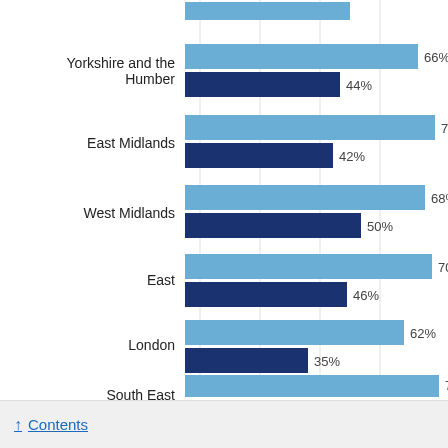[Figure (grouped-bar-chart): Regional breakdown (partial view)]
↑ Contents